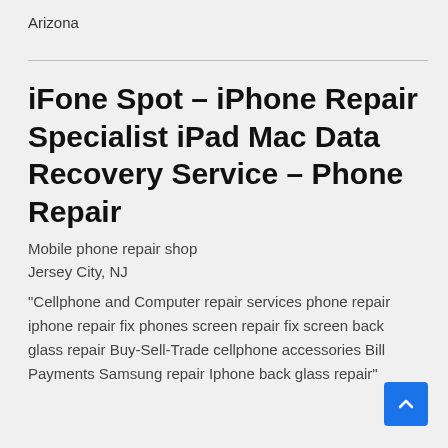Arizona
iFone Spot – iPhone Repair Specialist iPad Mac Data Recovery Service – Phone Repair
Mobile phone repair shop
Jersey City, NJ
“Cellphone and Computer repair services phone repair iphone repair fix phones screen repair fix screen back glass repair Buy-Sell-Trade cellphone accessories Bill Payments Samsung repair Iphone back glass repair”